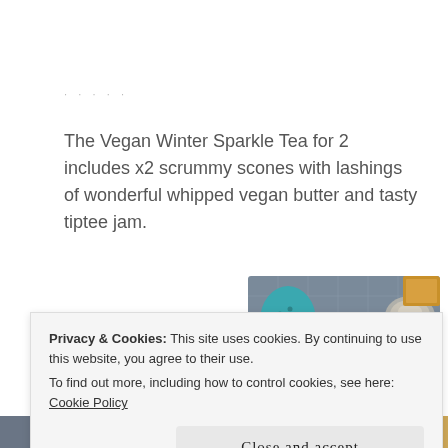· · · · ·
The Vegan Winter Sparkle Tea for 2 includes x2 scrummy scones with lashings of wonderful whipped vegan butter and tasty tiptee jam.
[Figure (other): Large bold pink number '10' partially visible on left side]
[Figure (photo): Photo of afternoon tea items: teal/turquoise salt shaker, scones with powdered sugar, coins or decorative items on grey tablecloth]
Privacy & Cookies: This site uses cookies. By continuing to use this website, you agree to their use.
To find out more, including how to control cookies, see here: Cookie Policy
Close and accept